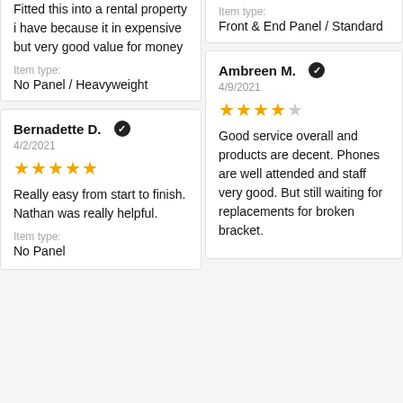Fitted this into a rental property i have because it in expensive but very good value for money
Item type: No Panel / Heavyweight
Item type: Front & End Panel / Standard
Bernadette D. ✔
4/2/2021
★★★★★
Really easy from start to finish. Nathan was really helpful.
Item type: No Panel
Ambreen M. ✔
4/9/2021
★★★★☆
Good service overall and products are decent. Phones are well attended and staff very good. But still waiting for replacements for broken bracket.